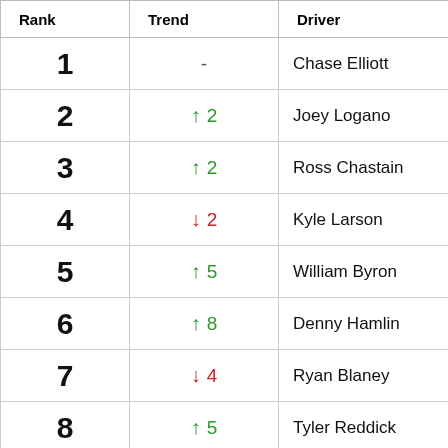| Rank | Trend | Driver |
| --- | --- | --- |
| 1 | - | Chase Elliott |
| 2 | ↑ 2 | Joey Logano |
| 3 | ↑ 2 | Ross Chastain |
| 4 | ↓ 2 | Kyle Larson |
| 5 | ↑ 5 | William Byron |
| 6 | ↑ 8 | Denny Hamlin |
| 7 | ↓ 4 | Ryan Blaney |
| 8 | ↑ 5 | Tyler Reddick |